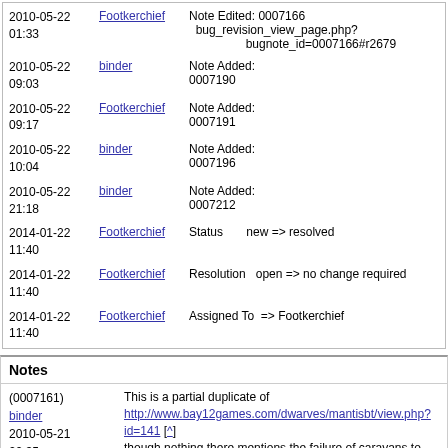| Date | User | Action | Detail |
| --- | --- | --- | --- |
| 2010-05-22 01:33 | Footkerchief | Note Edited: 0007166 | bug_revision_view_page.php?bugnote_id=0007166#r2679 |
| 2010-05-22 09:03 | binder | Note Added: 0007190 |  |
| 2010-05-22 09:17 | Footkerchief | Note Added: 0007191 |  |
| 2010-05-22 10:04 | binder | Note Added: 0007196 |  |
| 2010-05-22 21:18 | binder | Note Added: 0007212 |  |
| 2014-01-22 11:40 | Footkerchief | Status | new => resolved |
| 2014-01-22 11:40 | Footkerchief | Resolution | open => no change required |
| 2014-01-22 11:40 | Footkerchief | Assigned To | => Footkerchief |
Notes
| Meta | Content |
| --- | --- |
| (0007161)
binder
2010-05-21 22:35 | This is a partial duplicate of http://www.bay12games.com/dwarves/mantisbt/view.php?id=141 [^] though nothing there mentions the failure of caravans to show. |
| (0007166)
Footkerchief
2010-05-22 01:32
(edited on: 2010-05-22 01:33) | This is probably linked to 0000576. Did you get an announcement saying "A diplomat has left unhappy"? If you can't remember, try searching your gamelog.txt for the word "unhappy" or whatever.

Are you getting any migrants? |
| (0007190) | inder@death:~/Desktop/df_linux$ grep -i diplomat gamelog.txt |